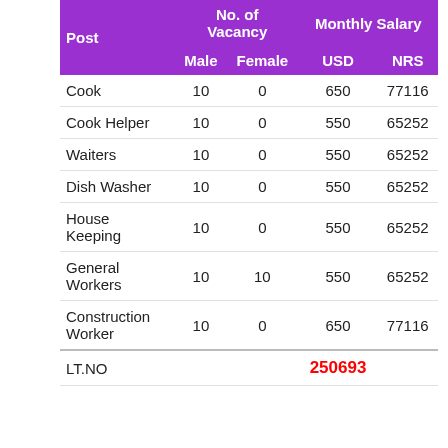| Post | Male | Female | USD | NRS |
| --- | --- | --- | --- | --- |
| Cook | 10 | 0 | 650 | 77116 |
| Cook Helper | 10 | 0 | 550 | 65252 |
| Waiters | 10 | 0 | 550 | 65252 |
| Dish Washer | 10 | 0 | 550 | 65252 |
| House Keeping | 10 | 0 | 550 | 65252 |
| General Workers | 10 | 10 | 550 | 65252 |
| Construction Worker | 10 | 0 | 650 | 77116 |
| LT.NO |  |  | 250693 |  |